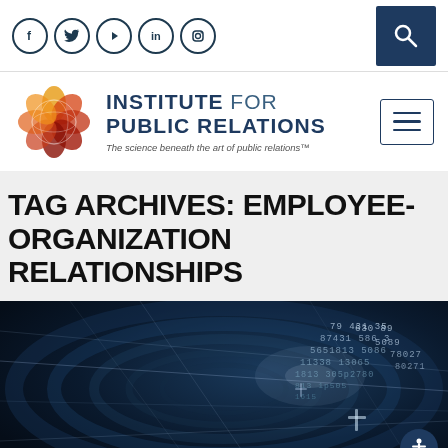Social icons: Facebook, Twitter, YouTube, LinkedIn, Instagram; Search button
[Figure (logo): Institute for Public Relations logo with flower/globe graphic and tagline: The science beneath the art of public relations™]
TAG ARCHIVES: EMPLOYEE-ORGANIZATION RELATIONSHIPS
[Figure (photo): Dark futuristic digital tunnel with streaming numbers and data, blue-toned]